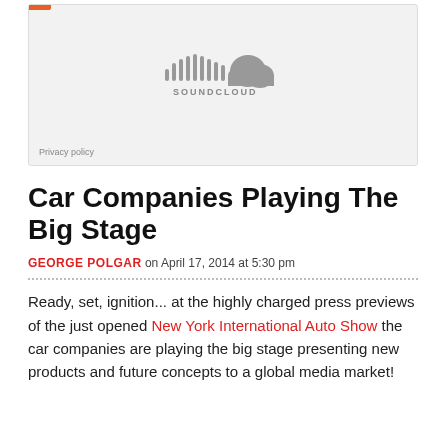[Figure (logo): SoundCloud embed widget placeholder with SoundCloud logo (cloud with sound waves) on light gray background, with an orange accent bar at top-left and 'Privacy policy' text at bottom-left]
Car Companies Playing The Big Stage
GEORGE POLGAR on April 17, 2014 at 5:30 pm
Ready, set, ignition... at the highly charged press previews of the just opened New York International Auto Show the car companies are playing the big stage presenting new products and future concepts to a global media market!